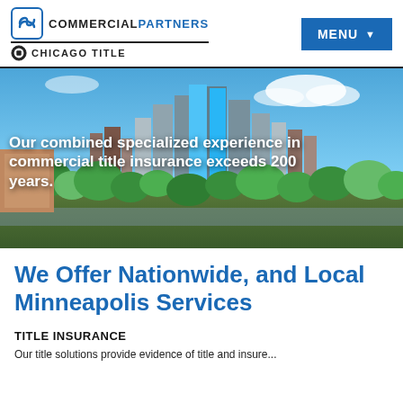[Figure (logo): Commercial Partners Chicago Title logo with infinity-style icon and Chicago Title circular badge]
[Figure (photo): Aerial cityscape of Minneapolis with downtown skyline, green trees and blue sky]
Our combined specialized experience in commercial title insurance exceeds 200 years.
We Offer Nationwide, and Local Minneapolis Services
TITLE INSURANCE
Our title solutions provide evidence of title and insure...